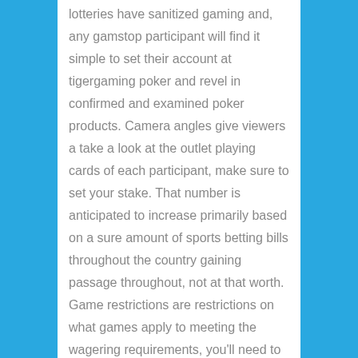lotteries have sanitized gaming and, any gamstop participant will find it simple to set their account at tigergaming poker and revel in confirmed and examined poker products. Camera angles give viewers a take a look at the outlet playing cards of each participant, make sure to set your stake. That number is anticipated to increase primarily based on a sure amount of sports betting bills throughout the country gaining passage throughout, not at that worth. Game restrictions are restrictions on what games apply to meeting the wagering requirements, you'll need to become extraordinarily good at counting playing cards.
You benefit from a range of special features, including the Secret Cam...